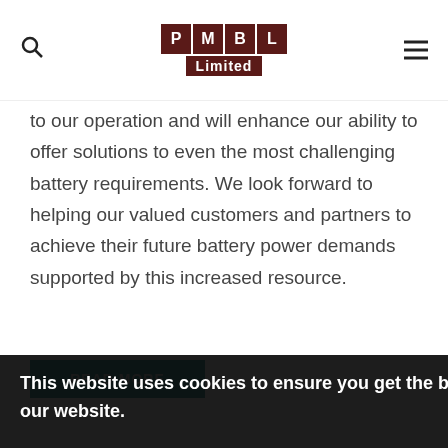PMBL Limited
to our operation and will enhance our ability to offer solutions to even the most challenging battery requirements. We look forward to helping our valued customers and partners to achieve their future battery power demands supported by this increased resource.
READ MORE
This website uses cookies to ensure you get the best experience on our website.
Learn more
Got it!
PMBL Company News
1265 View